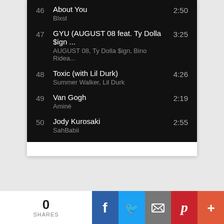46  About You  2:50
Blxst
47  GYU (AUGUST 08 feat. Ty Dolla $ign ...  3:25
AUGUST 08, Ty Dolla $ign, Bino Ridea...
48  Toxic (with Lil Durk)  4:26
Summer Walker, Lil Durk
49  Van Gogh  2:19
Aminé
50  Jody Kurosaki  2:55
SahBabii
0 SHARES
[Figure (infographic): Social sharing bar with Facebook, Twitter, Email, Pinterest, and More buttons]